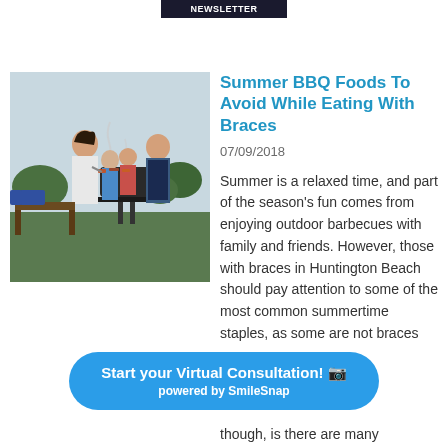NEWSLETTER
[Figure (photo): Family at a BBQ grill outdoors — a woman and two children alongside a man in an apron grilling food]
Summer BBQ Foods To Avoid While Eating With Braces
07/09/2018
Summer is a relaxed time, and part of the season's fun comes from enjoying outdoor barbecues with family and friends. However, those with braces in Huntington Beach should pay attention to some of the most common summertime staples, as some are not braces though, is there are many